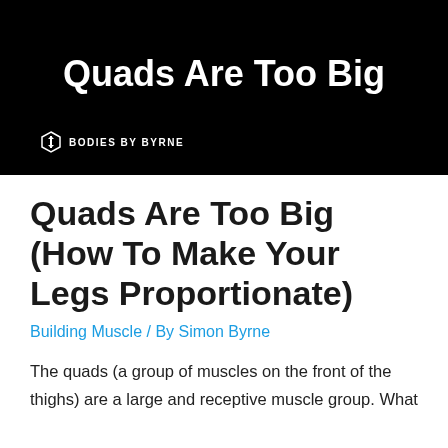[Figure (screenshot): Black banner image with white bold text reading 'Quads Are Too Big' and a Bodies by Byrne logo with hexagon icon in the bottom left]
Quads Are Too Big (How To Make Your Legs Proportionate)
Building Muscle / By Simon Byrne
The quads (a group of muscles on the front of the thighs) are a large and receptive muscle group. What